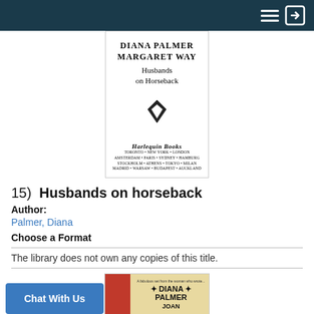Navigation header bar
[Figure (illustration): Book cover for 'Husbands on Horseback' by Diana Palmer and Margaret Way, published by Harlequin Books. Shows authors' names in bold serif capitals, book title in italic, a diamond logo, and publisher name with city list.]
15)  Husbands on horseback
Author:
Palmer, Diana
Choose a Format
The library does not own any copies of this title.
[Figure (illustration): Partial book cover showing a red strip on the left side and a tan/gold background with 'DIANA PALMER JOAN' text visible, with star/asterisk decorations.]
Chat With Us